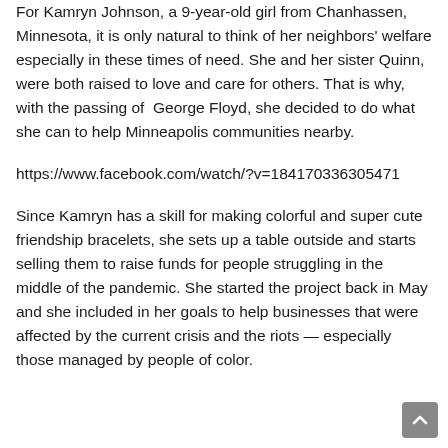For Kamryn Johnson, a 9-year-old girl from Chanhassen, Minnesota, it is only natural to think of her neighbors' welfare especially in these times of need. She and her sister Quinn, were both raised to love and care for others. That is why, with the passing of George Floyd, she decided to do what she can to help Minneapolis communities nearby.
https://www.facebook.com/watch/?v=184170336305471
Since Kamryn has a skill for making colorful and super cute friendship bracelets, she sets up a table outside and starts selling them to raise funds for people struggling in the middle of the pandemic. She started the project back in May and she included in her goals to help businesses that were affected by the current crisis and the riots — especially those managed by people of color.